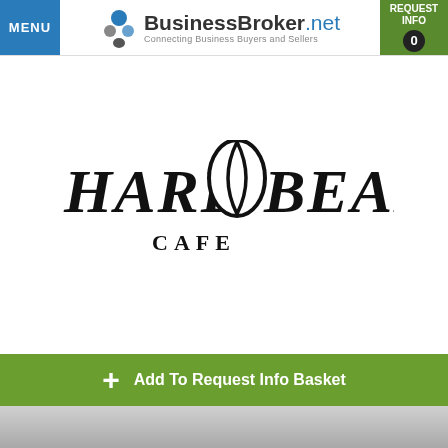MENU | BusinessBroker.net Connecting Business Buyers and Sellers | REQUEST INFO 0
[Figure (logo): Hard Bean Cafe logo — decorative serif text reading HARD BEAN with a coffee bean illustration in the center, and CAFE below]
+ Add To Request Info Basket
[Figure (photo): Partial bottom photo strip showing interior of a cafe, grayed out]